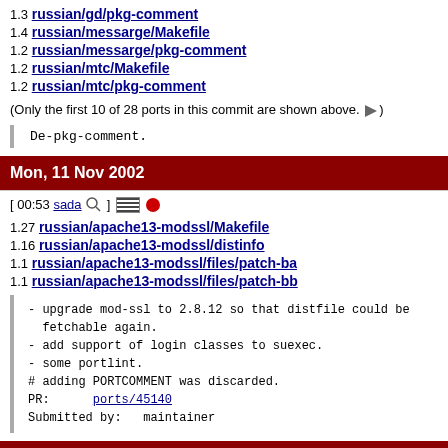1.3 russian/gd/pkg-comment
1.4 russian/messarge/Makefile
1.2 russian/messarge/pkg-comment
1.2 russian/mtc/Makefile
1.2 russian/mtc/pkg-comment
(Only the first 10 of 28 ports in this commit are shown above. ►)
De-pkg-comment.
Mon, 11 Nov 2002
[ 00:53 sada 🔍 ] ≡ ●
1.27 russian/apache13-modssl/Makefile
1.16 russian/apache13-modssl/distinfo
1.1 russian/apache13-modssl/files/patch-ba
1.1 russian/apache13-modssl/files/patch-bb
- upgrade mod-ssl to 2.8.12 so that distfile could be fetchable again.
- add support of login classes to suexec.
- some portlint.
# adding PORTCOMMENT was discarded.
PR:      ports/45140
Submitted by:   maintainer